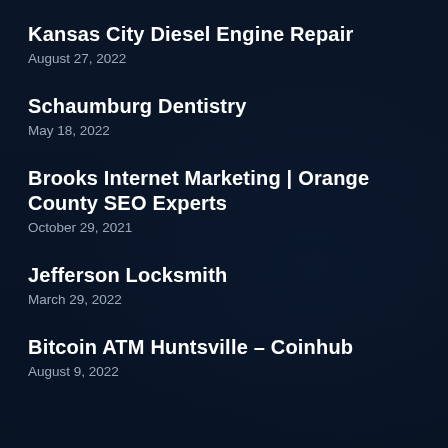Kansas City Diesel Engine Repair
August 27, 2022
Schaumburg Dentistry
May 18, 2022
Brooks Internet Marketing | Orange County SEO Experts
October 29, 2021
Jefferson Locksmith
March 29, 2022
Bitcoin ATM Huntsville – Coinhub
August 9, 2022